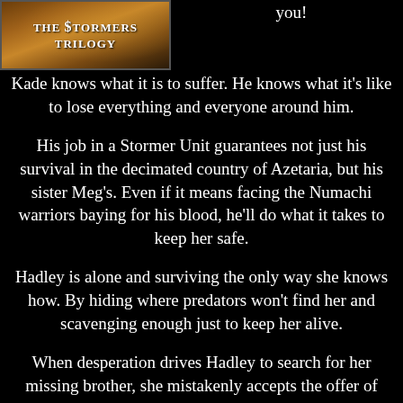[Figure (illustration): Book cover image for The Stormers Trilogy with desert/battle background scene]
you!
Kade knows what it is to suffer. He knows what it's like to lose everything and everyone around him.
His job in a Stormer Unit guarantees not just his survival in the decimated country of Azetaria, but his sister Meg's. Even if it means facing the Numachi warriors baying for his blood, he'll do what it takes to keep her safe.
Hadley is alone and surviving the only way she knows how. By hiding where predators won't find her and scavenging enough just to keep her alive.
When desperation drives Hadley to search for her missing brother, she mistakenly accepts the offer of recruitment into the Stormer's camp, only to be partnered